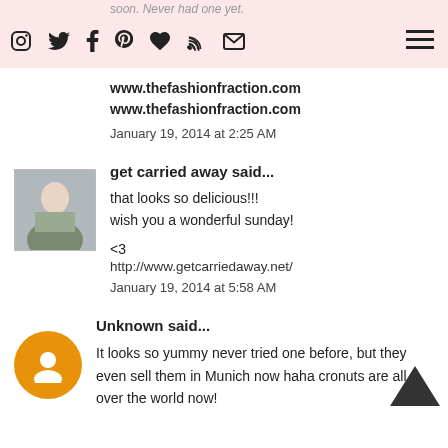soon. Never had one yet.
www.thefashionfraction.com
www.thefashionfraction.com
January 19, 2014 at 2:25 AM
get carried away said...
that looks so delicious!!!
wish you a wonderful sunday!

<3
http://www.getcarriedaway.net/
January 19, 2014 at 5:58 AM
Unknown said...
It looks so yummy never tried one before, but they even sell them in Munich now haha cronuts are all over the world now!